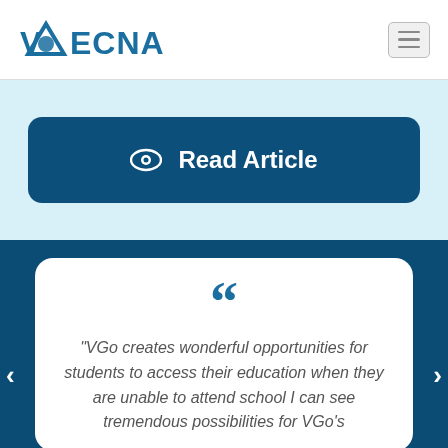[Figure (logo): Vecna logo with stylized V and triangle symbol, blue text reading VECNA]
[Figure (screenshot): Hamburger menu icon button in top right corner]
Read Article
"VGo creates wonderful opportunities for students to access their education when they are unable to attend school I can see tremendous possibilities for VGo's